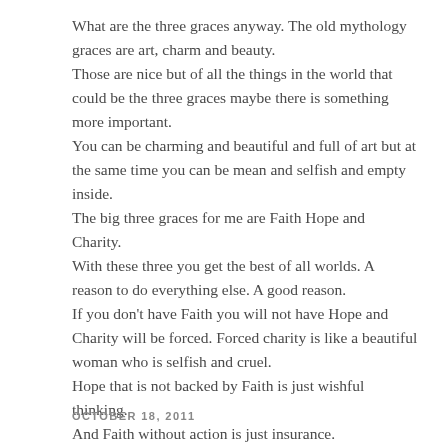What are the three graces anyway. The old mythology graces are art, charm and beauty. Those are nice but of all the things in the world that could be the three graces maybe there is something more important. You can be charming and beautiful and full of art but at the same time you can be mean and selfish and empty inside. The big three graces for me are Faith Hope and Charity. With these three you get the best of all worlds. A reason to do everything else. A good reason. If you don't have Faith you will not have Hope and Charity will be forced. Forced charity is like a beautiful woman who is selfish and cruel. Hope that is not backed by Faith is just wishful thinking. And Faith without action is just insurance.
OCTOBER 18, 2011